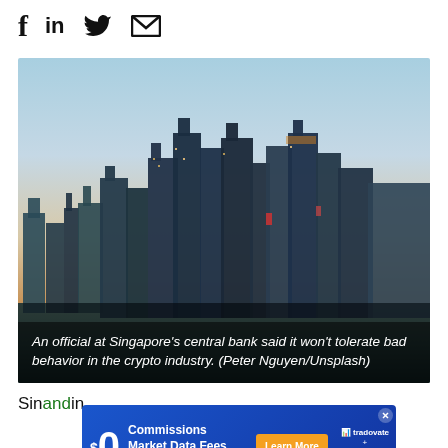Social share icons: Facebook, LinkedIn, Twitter, Email
[Figure (photo): Singapore city skyline at dusk/sunset, with tall glass skyscrapers reflected near the waterfront. Sky is gradient from blue to warm orange.]
An official at Singapore's central bank said it won't tolerate bad behavior in the crypto industry. (Peter Nguyen/Unsplash)
Sin... and... in
[Figure (other): Advertisement banner: $0 Commissions, Market Data Fees on Nano Crypto Futures. Learn More button. Tradovate + Coinbase Derivatives logo.]